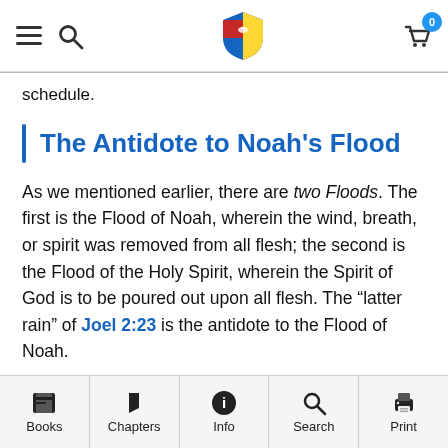Navigation bar with menu, search, shield logo, and cart
schedule.
The Antidote to Noah’s Flood
As we mentioned earlier, there are two Floods. The first is the Flood of Noah, wherein the wind, breath, or spirit was removed from all flesh; the second is the Flood of the Holy Spirit, wherein the Spirit of God is to be poured out upon all flesh. The “latter rain” of Joel 2:23 is the antidote to the Flood of Noah.
Books | Chapters | Info | Search | Print